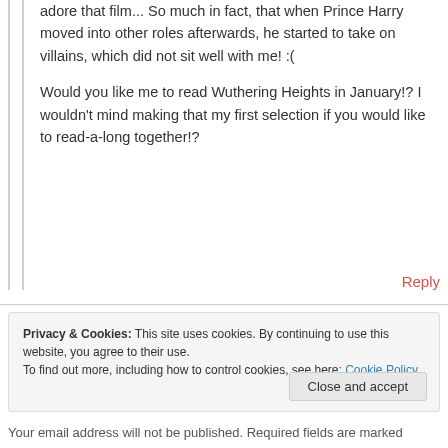adore that film... So much in fact, that when Prince Harry moved into other roles afterwards, he started to take on villains, which did not sit well with me! :(
Would you like me to read Wuthering Heights in January!? I wouldn't mind making that my first selection if you would like to read-a-long together!?
Reply
Privacy & Cookies: This site uses cookies. By continuing to use this website, you agree to their use. To find out more, including how to control cookies, see here: Cookie Policy
Close and accept
Your email address will not be published. Required fields are marked